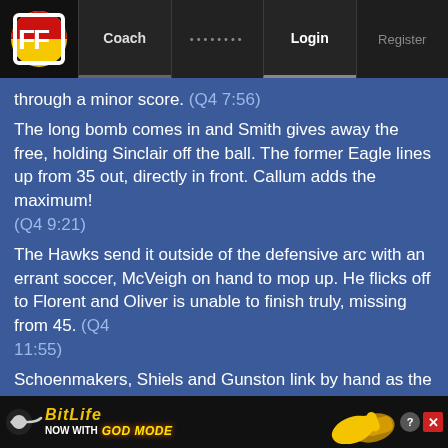FF | Coach | ........ | Login | Register
through a minor score. (Q4 7:56)
The long bomb comes in and Smith gives away the free, holding Sinclair off the ball. The former Eagle lines up from 35 out, directly in front. Callum adds the maximum! (Q4 9:21)
The Hawks send it outside of the defensive arc with an errant soccer, McVeigh on hand to mop up. He flicks off to Florent and Oliver is unable to finish truly, missing from 45. (Q4 11:55)
Schoenmakers, Shiels and Gunston link by hand as the Hawks go searching for an opening. The former Crow throws it on the
[Figure (screenshot): BitLife advertisement banner: 'NOW WITH GOD MODE' with yellow text and pointing hand graphic]